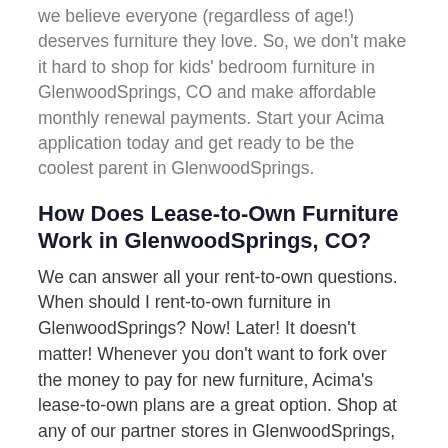we believe everyone (regardless of age!) deserves furniture they love. So, we don't make it hard to shop for kids' bedroom furniture in GlenwoodSprings, CO and make affordable monthly renewal payments. Start your Acima application today and get ready to be the coolest parent in GlenwoodSprings.
How Does Lease-to-Own Furniture Work in GlenwoodSprings, CO?
We can answer all your rent-to-own questions. When should I rent-to-own furniture in GlenwoodSprings? Now! Later! It doesn't matter! Whenever you don't want to fork over the money to pay for new furniture, Acima's lease-to-own plans are a great option. Shop at any of our partner stores in GlenwoodSprings, and make small lease renewal payments until you own your furniture.
Are there rent-to-own furniture stores near me? Reach out to local stores and ask for Acima by name, or visit our website and find stores near you in GlenwoodSprings.